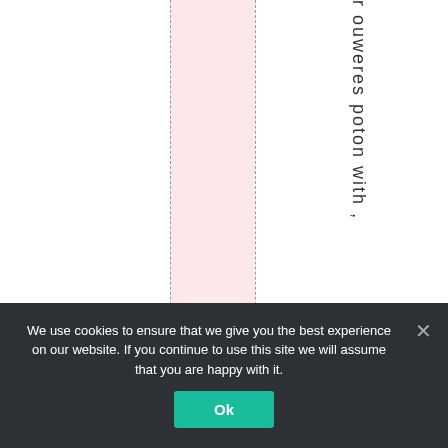[Figure (other): Screenshot of a website with dashed vertical column lines, a pink highlighted column in the middle, and vertical rotated text on the right reading 'r ouweres poton with ,']
We use cookies to ensure that we give you the best experience on our website. If you continue to use this site we will assume that you are happy with it.
Ok